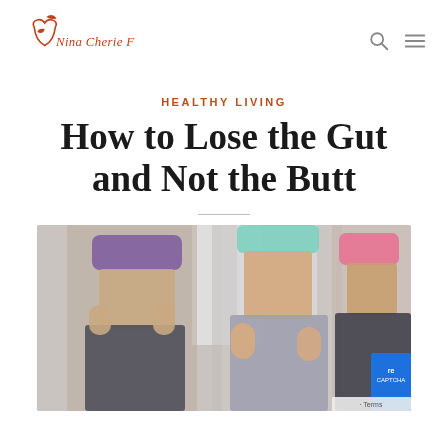Nina Cherie Franklin logo with navigation search and menu icons
HEALTHY LIVING
How to Lose the Gut and Not the Butt
[Figure (photo): Three women in athletic wear, showing their midsections, posing in a gym setting. Left woman wears a purple sports bra, center woman wears a mint green top with grey leggings, right woman wears a pink top.]